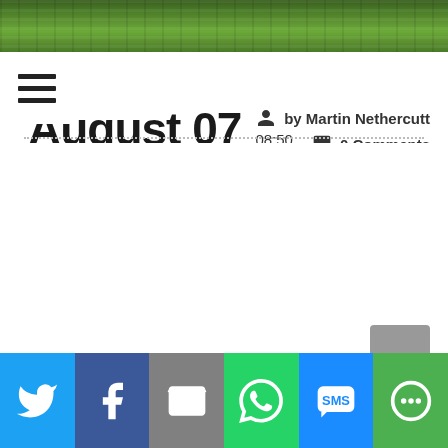[Figure (photo): Green grass banner image at the top of the page]
August 07  08:50 2019  by Martin Nethercutt  0 Comments
Twitter, Facebook, Email, WhatsApp, SMS, More share buttons